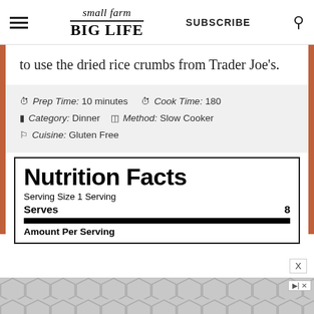small farm BIG LIFE | SUBSCRIBE
to use the dried rice crumbs from Trader Joe's.
Prep Time: 10 minutes   Cook Time: 180   Category: Dinner   Method: Slow Cooker   Cuisine: Gluten Free
| Nutrition Facts |  |
| --- | --- |
| Serving Size 1 Serving |  |
| Serves | 8 |
| Amount Per Serving |  |